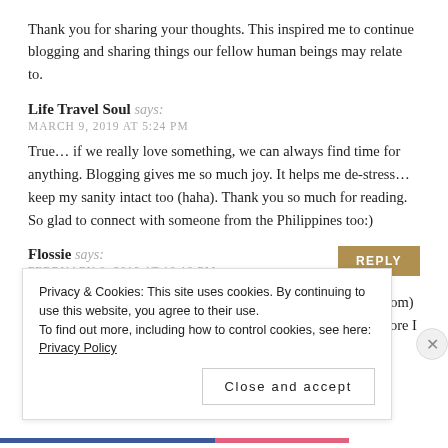Thank you for sharing your thoughts. This inspired me to continue blogging and sharing things our fellow human beings may relate to.
Life Travel Soul says:
MARCH 9, 2019 AT 5:24 PM
True... if we really love something, we can always find time for anything. Blogging gives me so much joy. It helps me de-stress... keep my sanity intact too (haha). Thank you so much for reading. So glad to connect with someone from the Philippines too:)
Flossie says:
FEBRUARY 8, 2019 AT 10:19 PM
Honestly, I started blogging because I could no longer (classroom) teach (child care was prohibitive). And as a little girl, even before I wanted to
Privacy & Cookies: This site uses cookies. By continuing to use this website, you agree to their use.
To find out more, including how to control cookies, see here: Privacy Policy
Close and accept